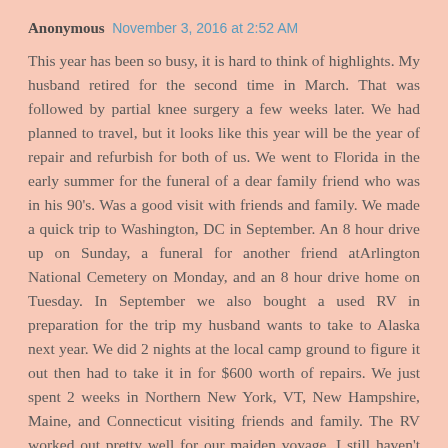Anonymous   November 3, 2016 at 2:52 AM
This year has been so busy, it is hard to think of highlights. My husband retired for the second time in March. That was followed by partial knee surgery a few weeks later. We had planned to travel, but it looks like this year will be the year of repair and refurbish for both of us. We went to Florida in the early summer for the funeral of a dear family friend who was in his 90's. Was a good visit with friends and family. We made a quick trip to Washington, DC in September. An 8 hour drive up on Sunday, a funeral for another friend atArlington National Cemetery on Monday, and an 8 hour drive home on Tuesday. In September we also bought a used RV in preparation for the trip my husband wants to take to Alaska next year. We did 2 nights at the local camp ground to figure it out then had to take it in for $600 worth of repairs. We just spent 2 weeks in Northern New York, VT, New Hampshire, Maine, and Connecticut visiting friends and family. The RV worked out pretty well for our maiden voyage. I still haven't decided if it was a good idea or an expensive mistake. I haven't been able to do as much reading as I would rea